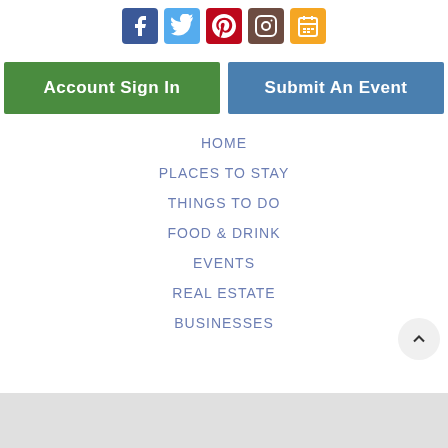[Figure (illustration): Row of 5 social media icon buttons: Facebook (blue), Twitter (light blue), Pinterest (red), Instagram (brown), Calendar (orange/yellow)]
Account Sign In
Submit An Event
HOME
PLACES TO STAY
THINGS TO DO
FOOD & DRINK
EVENTS
REAL ESTATE
BUSINESSES